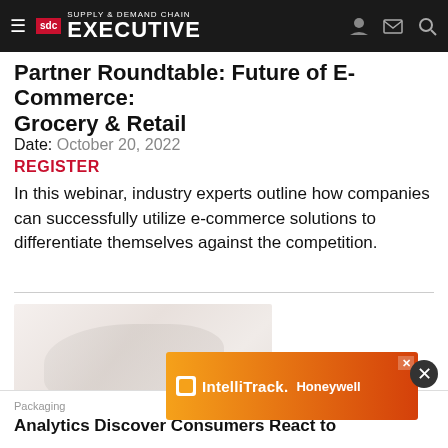Supply & Demand Chain Executive
Partner Roundtable: Future of E-Commerce: Grocery & Retail
Date: October 20, 2022
REGISTER
In this webinar, industry experts outline how companies can successfully utilize e-commerce solutions to differentiate themselves against the competition.
[Figure (photo): Article thumbnail image showing light-toned abstract or product photo]
Packaging
Analytics Discover Consumers React to
[Figure (infographic): IntelliTrack Honeywell advertisement banner with orange/red gradient background]